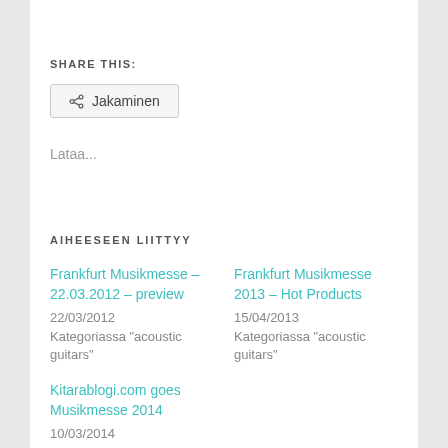SHARE THIS:
Jakaminen
Lataa...
AIHEESEEN LIITTYY
Frankfurt Musikmesse – 22.03.2012 – preview
22/03/2012
Kategoriassa "acoustic guitars"
Frankfurt Musikmesse 2013 – Hot Products
15/04/2013
Kategoriassa "acoustic guitars"
Kitarablogi.com goes Musikmesse 2014
10/03/2014
Kategoriassa "acoustic amp"